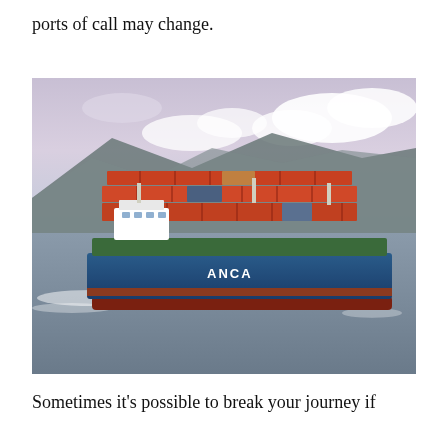ports of call may change.
[Figure (photo): A large blue container ship loaded with orange and red cargo containers, sailing on calm water with mountains and a cloudy sky in the background. The ship's hull reads 'ANCA'.]
Sometimes it's possible to break your journey if